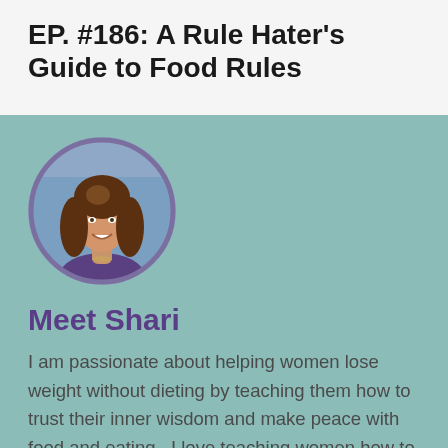EP. #186: A Rule Hater's Guide to Food Rules
[Figure (photo): Circular portrait photo of a woman with long brown hair, smiling, with a purple border, set on a teal background card]
Meet Shari
I am passionate about helping women lose weight without dieting by teaching them how to trust their inner wisdom and make peace with food and eating.  I love teaching women how to get off the diet hamster